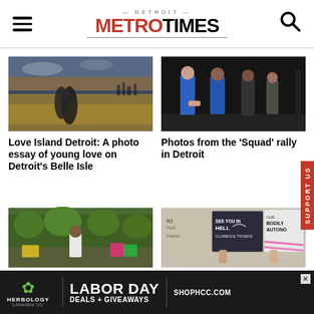Detroit Metro Times
[Figure (photo): Two people embracing in water at sunset with city skyline in background, Belle Isle Detroit]
Love Island Detroit: A photo essay of young love on Detroit's Belle Isle
[Figure (photo): Four women on stage at the Squad rally in Detroit, one in blue dress]
Photos from the 'Squad' rally in Detroit
[Figure (photo): Crowd at outdoor rally with trees in background, person holding sign]
[Figure (photo): Protest signs including 'See you in hell Clarence Thomas' and 'Bodily Autonomy']
[Figure (infographic): Herbology Cannabis Co. advertisement - Labor Day Deals + Giveaways - SHOPHCC.COM]